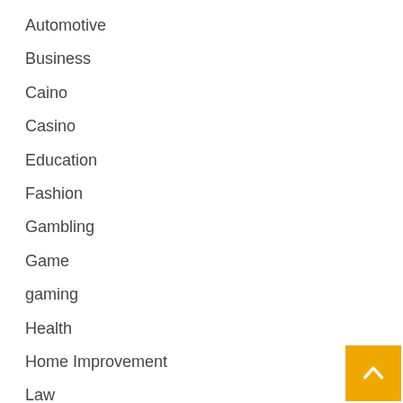Automotive
Business
Caino
Casino
Education
Fashion
Gambling
Game
gaming
Health
Home Improvement
Law
lawyer